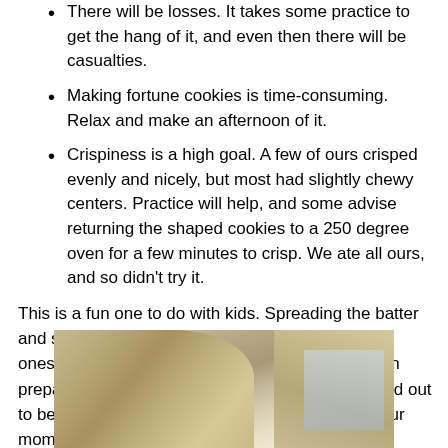There will be losses. It takes some practice to get the hang of it, and even then there will be casualties.
Making fortune cookies is time-consuming. Relax and make an afternoon of it.
Crispiness is a high goal. A few of ours crisped evenly and nicely, but most had slightly chewy centers. Practice will help, and some advise returning the shaped cookies to a 250 degree oven for a few minutes to crisp. We ate all ours, and so didn't try it.
This is a fun one to do with kids. Spreading the batter and shaping the cookies may be difficult for young ones, but kids who can write or draw of course can prepare the fortunes. (Ours, not surprisingly, turned out to be focused on the boys' current obsession: "Your mom will let you play Minecraft" and the like.)
[Figure (photo): Photo of people (children and adults) in a kitchen or indoor setting, viewed from behind, with light-colored hair visible in the foreground.]